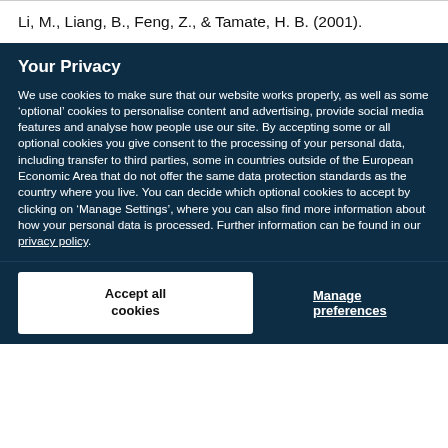Li, M., Liang, B., Feng, Z., & Tamate, H. B. (2001).
Your Privacy
We use cookies to make sure that our website works properly, as well as some ‘optional’ cookies to personalise content and advertising, provide social media features and analyse how people use our site. By accepting some or all optional cookies you give consent to the processing of your personal data, including transfer to third parties, some in countries outside of the European Economic Area that do not offer the same data protection standards as the country where you live. You can decide which optional cookies to accept by clicking on ‘Manage Settings’, where you can also find more information about how your personal data is processed. Further information can be found in our privacy policy.
Accept all cookies
Manage preferences